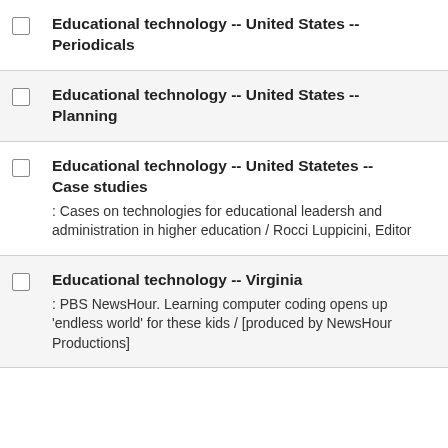Educational technology -- United States -- Periodicals
Educational technology -- United States -- Planning
Educational technology -- United Statetes -- Case studies : Cases on technologies for educational leadership and administration in higher education / Rocci Luppicini, Editor
Educational technology -- Virginia : PBS NewsHour. Learning computer coding opens up 'endless world' for these kids / [produced by NewsHour Productions]